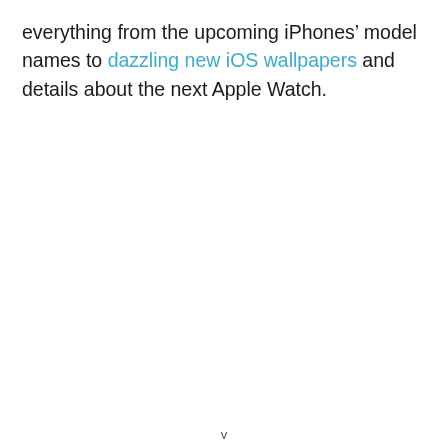everything from the upcoming iPhones' model names to dazzling new iOS wallpapers and details about the next Apple Watch.
v